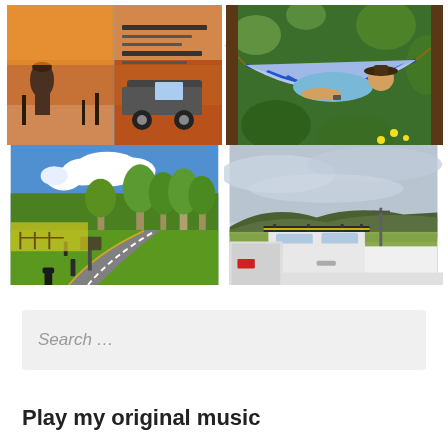[Figure (photo): 2x2 grid of photos: top-left shows an off-road 4x4 magazine spread with red desert landscape; top-right shows a person relaxing in a blue-and-white striped hammock in leafy surroundings; bottom-left shows a curved road through eucalyptus trees with blue sky and clouds; bottom-right shows a white dual-cab ute/pickup truck with a roof rack parked in an open valley with hills in the background]
Search …
Play my original music